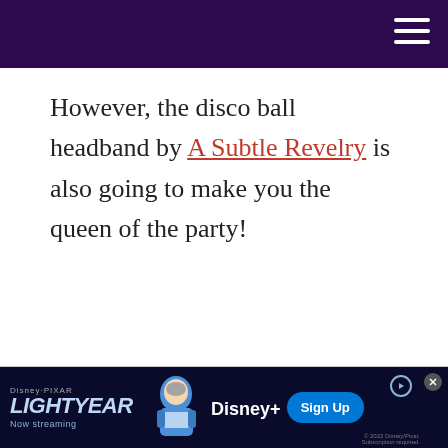However, the disco ball headband by A Subtle Revelry is also going to make you the queen of the party!
[Figure (screenshot): Disney Pixar Lightyear advertisement banner. Shows Lightyear movie logo, Buzz Lightyear character, Disney+ logo, Sign Up button, and 'Now streaming' text.]